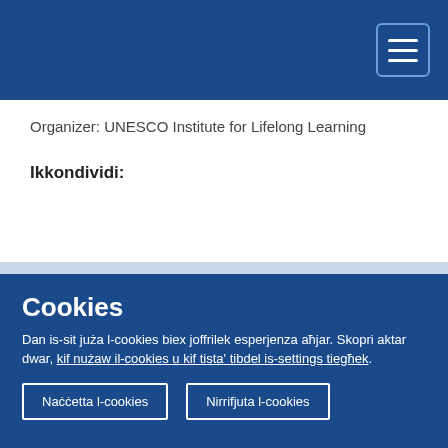[Figure (screenshot): Blue navigation header bar with hamburger menu button (three horizontal lines) in the top right corner]
Organizer: UNESCO Institute for Lifelong Learning
Ikkondividi:
Avvenimenti relatati
[Figure (screenshot): Partial event card with blue gradient banner visible]
Cookies
Dan is-sit juża l-cookies biex joffrilek esperjenza aħjar. Skopri aktar dwar, kif nużaw il-cookies u kif tista' tibdel is-settings tiegħek.
Naċċetta l-cookies
Nirrifjuta l-cookies